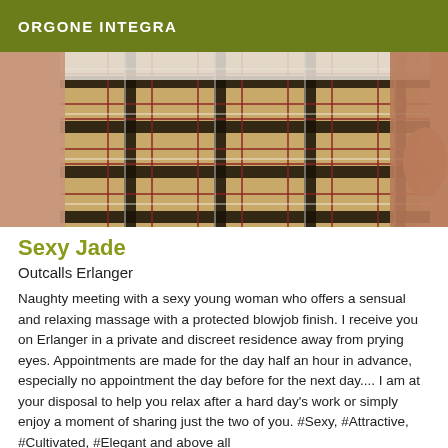ORGONE INTEGRA
[Figure (photo): Close-up photo of a person wearing a beige/tan plaid (Burberry-style) shorts with a white top, outdoors setting]
Sexy Jade
Outcalls Erlanger
Naughty meeting with a sexy young woman who offers a sensual and relaxing massage with a protected blowjob finish. I receive you on Erlanger in a private and discreet residence away from prying eyes. Appointments are made for the day half an hour in advance, especially no appointment the day before for the next day.... I am at your disposal to help you relax after a hard day's work or simply enjoy a moment of sharing just the two of you. #Sexy, #Attractive, #Cultivated, #Elegant and above all